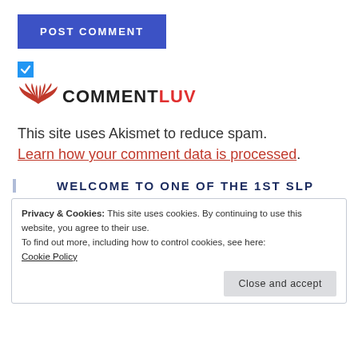POST COMMENT
[Figure (logo): Blue checked checkbox followed by CommentLuv logo with red wings icon and text COMMENTLUV where LUV is in red]
This site uses Akismet to reduce spam. Learn how your comment data is processed.
WELCOME TO ONE OF THE 1ST SLP
Privacy & Cookies: This site uses cookies. By continuing to use this website, you agree to their use.
To find out more, including how to control cookies, see here:
Cookie Policy
Close and accept